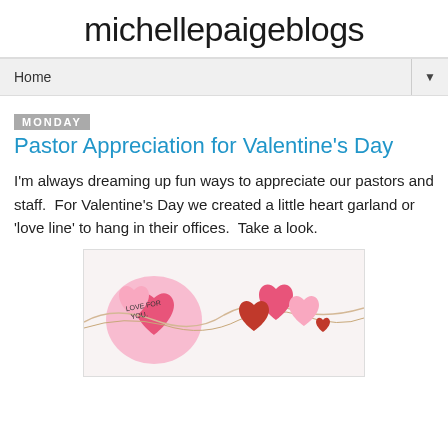michellepaigeblogs
Home
Monday
Pastor Appreciation for Valentine's Day
I'm always dreaming up fun ways to appreciate our pastors and staff.  For Valentine's Day we created a little heart garland or 'love line' to hang in their offices.  Take a look.
[Figure (photo): Close-up photo of pink and red paper heart garland pieces with handwritten text 'LOVE FOR YOU', tied with string, Valentine's Day craft]